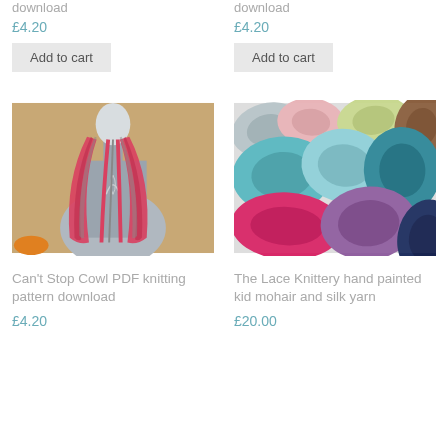download
£4.20
download
£4.20
Add to cart
Add to cart
[Figure (photo): Red knitted cowl/infinity scarf displayed on a mannequin torso, draped in long loops, with a wooden background]
[Figure (photo): Multiple skeins of hand painted kid mohair and silk yarn in various colors including pink, teal, green, lavender, and magenta]
Can't Stop Cowl PDF knitting pattern download
£4.20
The Lace Knittery hand painted kid mohair and silk yarn
£20.00